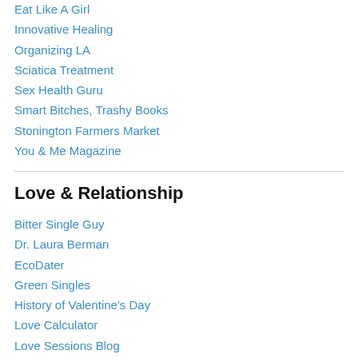Eat Like A Girl
Innovative Healing
Organizing LA
Sciatica Treatment
Sex Health Guru
Smart Bitches, Trashy Books
Stonington Farmers Market
You & Me Magazine
Love & Relationship
Bitter Single Guy
Dr. Laura Berman
EcoDater
Green Singles
History of Valentine's Day
Love Calculator
Love Sessions Blog
Rumi